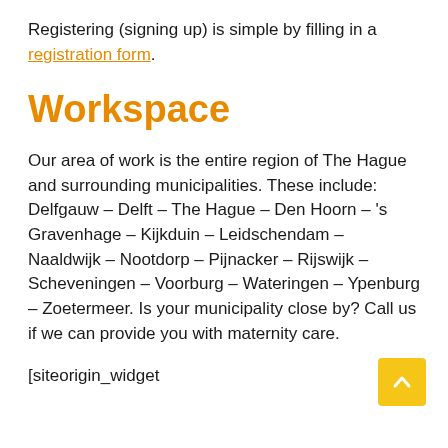Registering (signing up) is simple by filling in a registration form.
Workspace
Our area of work is the entire region of The Hague and surrounding municipalities. These include: Delfgauw – Delft – The Hague – Den Hoorn – 's Gravenhage – Kijkduin – Leidschendam – Naaldwijk – Nootdorp – Pijnacker – Rijswijk – Scheveningen – Voorburg – Wateringen – Ypenburg – Zoetermeer. Is your municipality close by? Call us if we can provide you with maternity care.
[siteorigin_widget